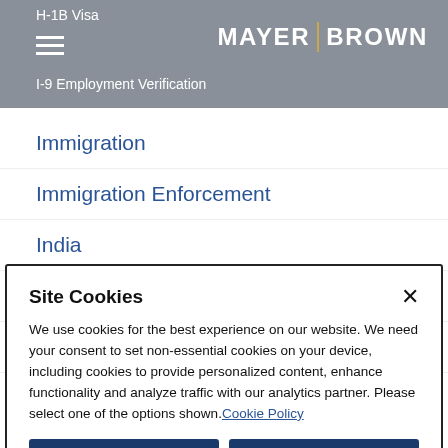H-1B Visa | I-9 Employment Verification | MAYER BROWN
Immigration
Immigration Enforcement
India
Ireland
Israel
Site Cookies

We use cookies for the best experience on our website. We need your consent to set non-essential cookies on your device, including cookies to provide personalized content, enhance functionality and analyze traffic with our analytics partner. Please select one of the options shown. Cookie Policy